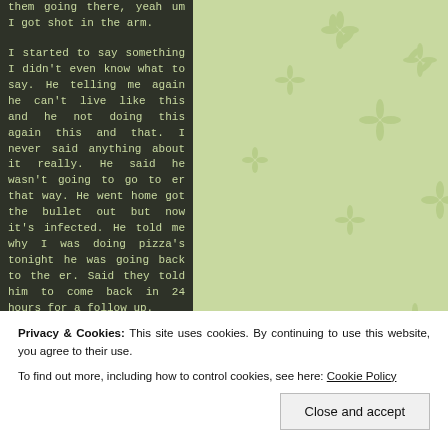them going there, yeah um I got shot in the arm.
I started to say something I didn't even know what to say. He telling me again he can't live like this and he not doing this again this and that. I never said anything about it really. He said he wasn't going to go to er that way. He went home got the bullet out but now it's infected. He told me why I was doing pizza's tonight he was going back to the er. Said they told him to come back in 24 hours for a follow up.
He sent me a picture, its pretty nasty because he didn't get it treated right away and his sugars
is not going back there, no
Privacy & Cookies: This site uses cookies. By continuing to use this website, you agree to their use.
To find out more, including how to control cookies, see here: Cookie Policy